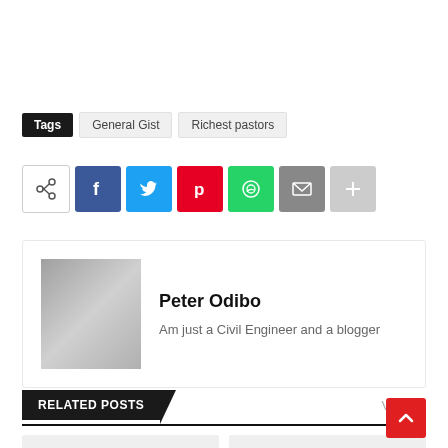Tags  General Gist  Richest pastors
[Figure (infographic): Social share buttons row: share icon, Facebook, Twitter, Pinterest, WhatsApp, Email, plus]
Peter Odibo
Am just a Civil Engineer and a blogger
RELATED POSTS
View all
[Figure (photo): Two related post thumbnail placeholders side by side]